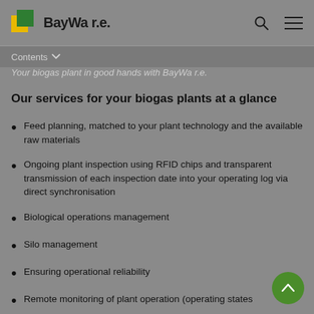BayWa r.e.
Contents
Your biogas plant in good hands with BayWa r.e.
Our services for your biogas plants at a glance
Feed planning, matched to your plant technology and the available raw materials
Ongoing plant inspection using RFID chips and transparent transmission of each inspection date into your operating log via direct synchronisation
Biological operations management
Silo management
Ensuring operational reliability
Remote monitoring of plant operation (operating states